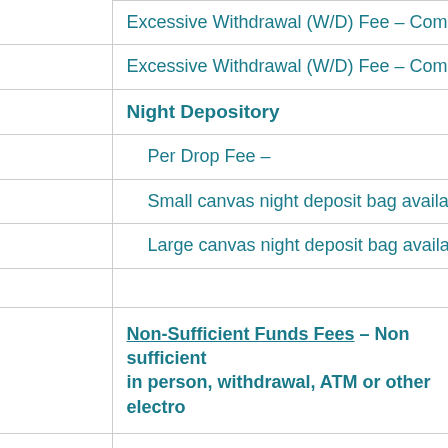| Excessive Withdrawal (W/D) Fee – Commercia… |  |
| Excessive Withdrawal (W/D) Fee – Commercia… |  |
| Night Depository |  |
| Per Drop Fee – |  |
| Small canvas night deposit bag available for… |  |
| Large canvas night deposit bag available for… |  |
|  |  |
| Non-Sufficient Funds Fees – Non sufficient … in person, withdrawal, ATM or other electro… |  |
| NSF Fee |  |
| Returned Item Fee |  |
| Overdraft Fee |  |
| Paid Item Fee |  |
| Pop Money Transfer Fee |  |